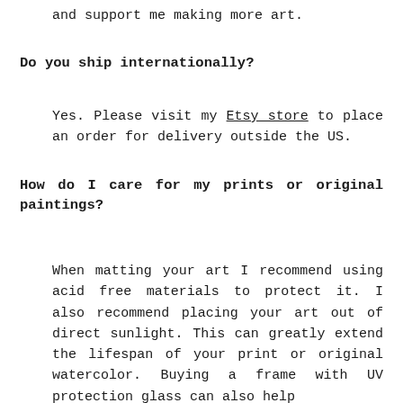and support me making more art.
Do you ship internationally?
Yes. Please visit my Etsy store to place an order for delivery outside the US.
How do I care for my prints or original paintings?
When matting your art I recommend using acid free materials to protect it. I also recommend placing your art out of direct sunlight. This can greatly extend the lifespan of your print or original watercolor. Buying a frame with UV protection glass can also help